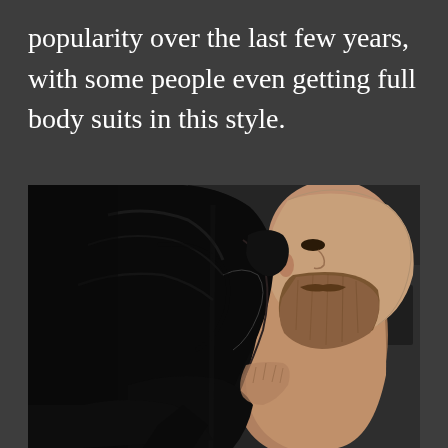popularity over the last few years, with some people even getting full body suits in this style.
[Figure (photo): A bearded man photographed from the side showing an extensive blackwork tattoo covering his entire back, left shoulder, arm, and wrapping around his torso. The tattoo is solid black ink in a blackout/blackwork style. The man is shirtless and the photo is taken in what appears to be a gym or tattoo studio setting.]